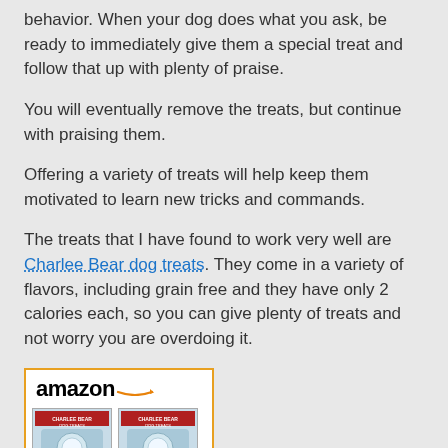behavior. When your dog does what you ask, be ready to immediately give them a special treat and follow that up with plenty of praise.
You will eventually remove the treats, but continue with praising them.
Offering a variety of treats will help keep them motivated to learn new tricks and commands.
The treats that I have found to work very well are Charlee Bear dog treats. They come in a variety of flavors, including grain free and they have only 2 calories each, so you can give plenty of treats and not worry you are overdoing it.
[Figure (other): Amazon product listing box showing two packages of Charlee Bear dog treats with the Amazon logo and orange arrow at top.]